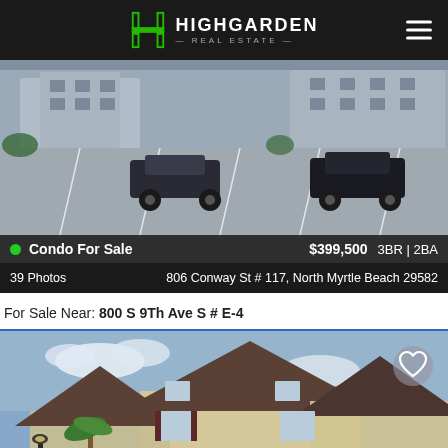[Figure (logo): HighGarden Real Estate logo with green H icon and white text on black header bar]
[Figure (photo): Parking lot exterior photo of condo building]
Condo For Sale   $399,500   3BR | 2BA
39 Photos   806 Conway St # 117, North Myrtle Beach 29582
For Sale Near: 800 S 9Th Ave S # E-4
[Figure (photo): Exterior photo of townhouse/condo community with tan siding and dark roof]
Call Agent
Message Agent
Schedule Tour
Condo For Sale   $419,900   3BR | 2BA